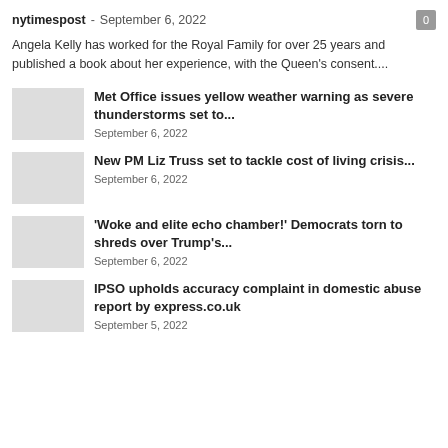nytimespost - September 6, 2022
Angela Kelly has worked for the Royal Family for over 25 years and published a book about her experience, with the Queen's consent....
Met Office issues yellow weather warning as severe thunderstorms set to...
September 6, 2022
New PM Liz Truss set to tackle cost of living crisis...
September 6, 2022
'Woke and elite echo chamber!' Democrats torn to shreds over Trump's...
September 6, 2022
IPSO upholds accuracy complaint in domestic abuse report by express.co.uk
September 5, 2022